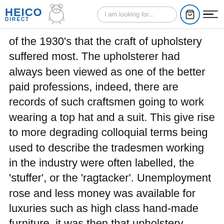HEICO DIRECT — I am looking for...
of the 1930's that the craft of upholstery suffered most. The upholsterer had always been viewed as one of the better paid professions, indeed, there are records of such craftsmen going to work wearing a top hat and a suit. This give rise to more degrading colloquial terms being used to describe the tradesmen working in the industry were often labelled, the 'stuffer', or the 'ragtacker'. Unemployment rose and less money was available for luxuries such as high class hand-made furniture, it was then that upholstery suffered greatly. It is often referred to as the instalment plan era, a time when sweat